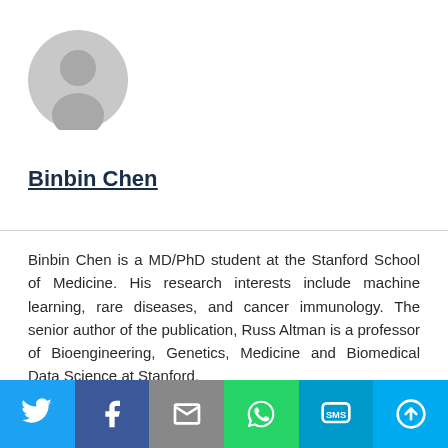[Figure (illustration): Gray circular profile avatar placeholder with a person silhouette]
Binbin Chen
Binbin Chen is a MD/PhD student at the Stanford School of Medicine. His research interests include machine learning, rare diseases, and cancer immunology. The senior author of the publication, Russ Altman is a professor of Bioengineering, Genetics, Medicine and Biomedical Data Science at Stanford.
[Figure (infographic): Social sharing bar with icons for Twitter, Facebook, Email, WhatsApp, SMS, and More]